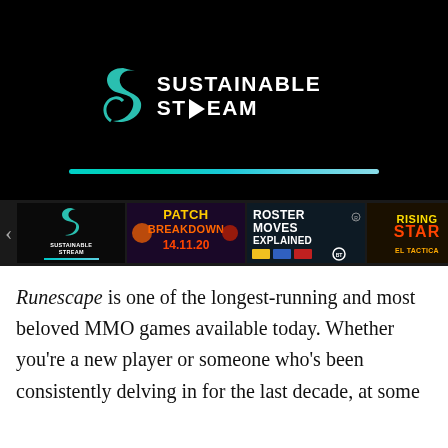[Figure (screenshot): Video player showing Sustainable Stream logo on black background with a play button and a teal/cyan progress bar near the bottom.]
[Figure (screenshot): Thumbnail strip showing a carousel with a left arrow, a Sustainable Stream thumbnail, a Patch Breakdown 14.11.20 thumbnail, a Roster Moves Explained thumbnail, and a Rising Star El Tactica thumbnail.]
Runescape is one of the longest-running and most beloved MMO games available today. Whether you're a new player or someone who's been consistently delving in for the last decade, at some